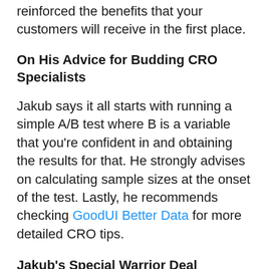reinforced the benefits that your customers will receive in the first place.
On His Advice for Budding CRO Specialists
Jakub says it all starts with running a simple A/B test where B is a variable that you're confident in and obtaining the results for that. He strongly advises on calculating sample sizes at the onset of the test. Lastly, he recommends checking GoodUI Better Data for more detailed CRO tips.
Jakub's Special Warrior Deal
We hope you learned profitable information from Jakub's WAMA today. As a treat to all